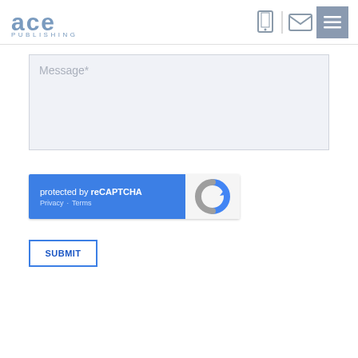[Figure (logo): ACE Publishing logo — stylized 'ace' text in blue-grey with 'PUBLISHING' text below]
[Figure (screenshot): Navigation icons: tablet/phone icon, divider line, envelope/mail icon, hamburger menu button on grey background]
Message*
[Figure (screenshot): reCAPTCHA widget — blue left panel with 'protected by reCAPTCHA', Privacy · Terms links; grey right panel with reCAPTCHA logo]
SUBMIT